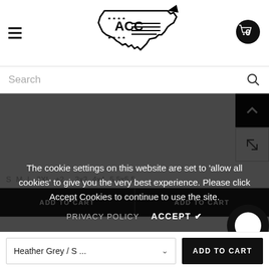[Figure (logo): ACC logo — outline of USA map with stars and stripes pattern, text 'ACC' with stars above and below]
Search
S  M  L  2XL  +2     3x3  4x4  5.5x5.5
ADD TO CART
ADD TO CART
The cookie settings on this website are set to 'allow all cookies' to give you the very best experience. Please click Accept Cookies to continue to use the site.
PRIVACY POLICY
ACCEPT ✔
Heather Grey / S ...
ADD TO CART